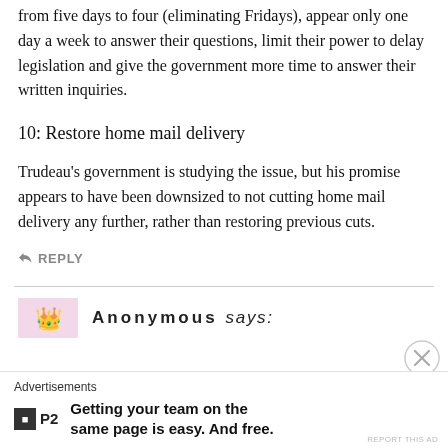from five days to four (eliminating Fridays), appear only one day a week to answer their questions, limit their power to delay legislation and give the government more time to answer their written inquiries.
10: Restore home mail delivery
Trudeau's government is studying the issue, but his promise appears to have been downsized to not cutting home mail delivery any further, rather than restoring previous cuts.
↩ REPLY
Anonymous says:
Advertisements
Getting your team on the same page is easy. And free.